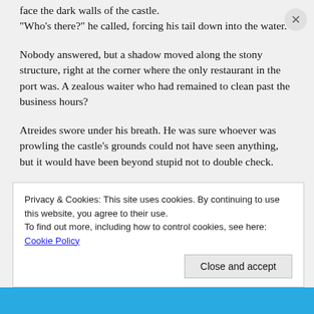face the dark walls of the castle.
“Who’s there?” he called, forcing his tail down into the water.
Nobody answered, but a shadow moved along the stony structure, right at the corner where the only restaurant in the port was. A zealous waiter who had remained to clean past the business hours?
Atreides swore under his breath. He was sure whoever was prowling the castle’s grounds could not have seen anything, but it would have been beyond stupid not to double check.
The shadow jumped down from the parapet above the restaurant and flattened against the wall closest to its entrance. Not a waiter. Over the wooden doors, a striped
Privacy & Cookies: This site uses cookies. By continuing to use this website, you agree to their use.
To find out more, including how to control cookies, see here: Cookie Policy
Close and accept